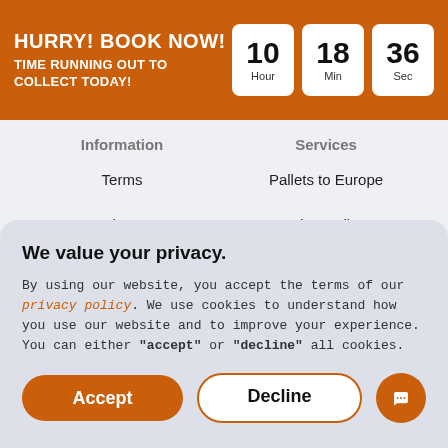HURRY! BOOK NOW! TIME RUNNING OUT TO COLLECT TODAY! 10 Hour 18 Min 36 Sec
Information
Services
Terms
Pallets to Europe
Privacy
Engine Delivery
Storage
Courier
We value your privacy.
By using our website, you accept the terms of our privacy policy. We use cookies to understand how you use our website and to improve your experience. You can either "accept" or "decline" all cookies.
Accept
Decline